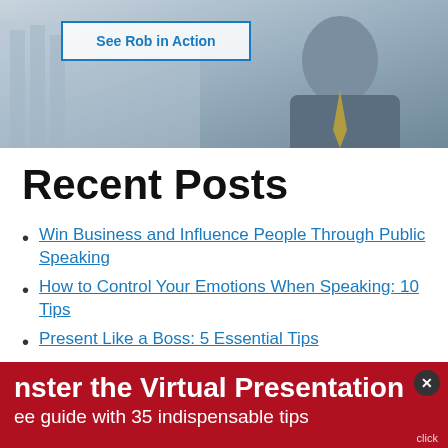[Figure (photo): Banner photo of a businessman in a suit with a blue 'See Rob in Action' button overlay]
Recent Posts
Win Business and Influence People Through Public Speaking
How to Control Your Emotions When Speaking: 10 Tips
Present Like a Boss: 5 Essential Tips
A Personal Brand Guide for Personal Brand Haters
A Simple Communication Framework For
nster the Virtual Presentation
ee guide with 35 indispensable tips